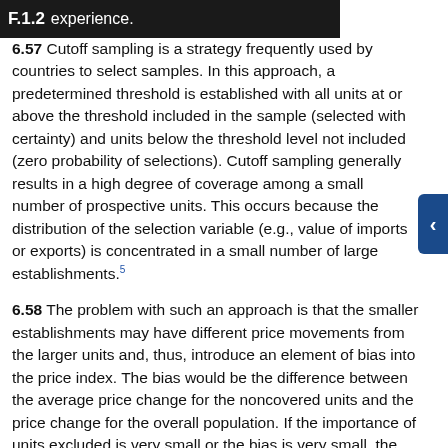F.1.2 experience.
6.57 Cutoff sampling is a strategy frequently used by countries to select samples. In this approach, a predetermined threshold is established with all units at or above the threshold included in the sample (selected with certainty) and units below the threshold level not included (zero probability of selections). Cutoff sampling generally results in a high degree of coverage among a small number of prospective units. This occurs because the distribution of the selection variable (e.g., value of imports or exports) is concentrated in a small number of large establishments.5
6.58 The problem with such an approach is that the smaller establishments may have different price movements from the larger units and, thus, introduce an element of bias into the price index. The bias would be the difference between the average price change for the noncovered units and the price change for the overall population. If the importance of units excluded is very small or the bias is very small, the effect on the overall error may be very small. Usually the total error